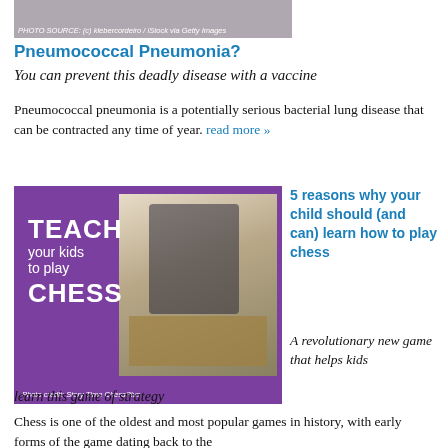[Figure (photo): Partial photo of a person, cropped at top with photo credit overlay]
PHOTO SOURCE: (c) klebercordeiro / iStock via Getty Images
Pneumococcal Pneumonia?
You can prevent this deadly disease with a vaccine
Pneumococcal pneumonia is a potentially serious bacterial lung disease that can be contracted any time of year. read more »
[Figure (photo): Purple promotional image with text 'TEACH your kids to play CHESS' overlaid, with a photo of a smiling Asian child playing chess. Photo credit: Story Time ChessPlus]
Photo credit: Story Time ChessPlus
5 reasons why your child should (and can) learn how to play chess
A revolutionary new game that helps kids learn this game of strategy
Chess is one of the oldest and most popular games in history, with early forms of the game dating back to the